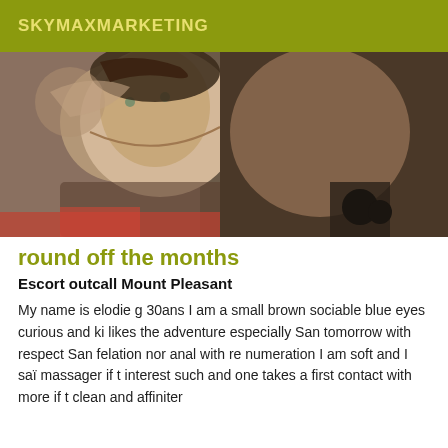SKYMAXMARKETING
[Figure (photo): Selfie photo of a young woman with dark curly hair wearing a black outfit and pearl necklace, tilting her head toward camera]
round off the months
Escort outcall Mount Pleasant
My name is elodie g 30ans I am a small brown sociable blue eyes curious and ki likes the adventure especially San tomorrow with respect San felation nor anal with re numeration I am soft and I saï massager if t interest such and one takes a first contact with more if t clean and affiniter